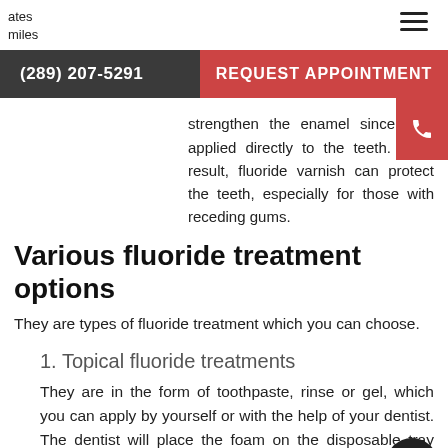ates
miles
(289) 207-5291
REQUEST APPOINTMENT
strengthen the enamel since it is applied directly to the teeth. As a result, fluoride varnish can protect the teeth, especially for those with receding gums.
Various fluoride treatment options
They are types of fluoride treatment which you can choose.
1. Topical fluoride treatments
They are in the form of toothpaste, rinse or gel, which you can apply by yourself or with the help of your dentist. The dentist will place the foam on the disposable tray and let it sit in your mouth while in your dental appointment.